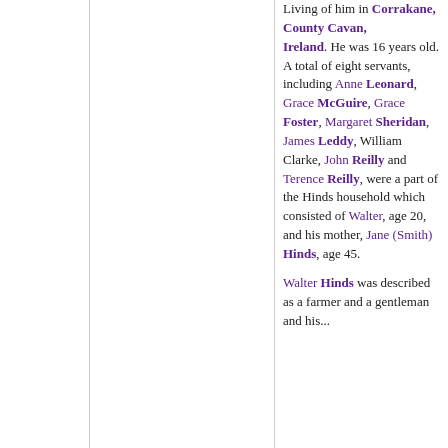Living of him in Corrakane, County Cavan, Ireland. He was 16 years old. A total of eight servants, including Anne Leonard, Grace McGuire, Grace Foster, Margaret Sheridan, James Leddy, William Clarke, John Reilly and Terence Reilly, were a part of the Hinds household which consisted of Walter, age 20, and his mother, Jane (Smith) Hinds, age 45.

Walter Hinds was described as a farmer and a gentleman and his...